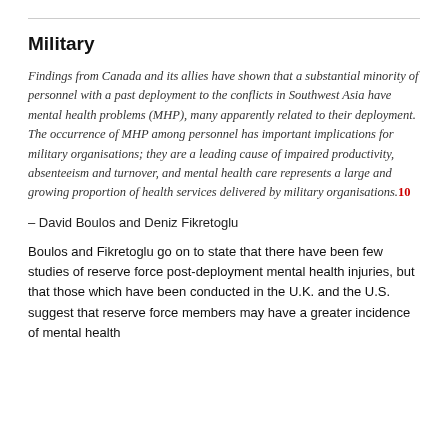Military
Findings from Canada and its allies have shown that a substantial minority of personnel with a past deployment to the conflicts in Southwest Asia have mental health problems (MHP), many apparently related to their deployment. The occurrence of MHP among personnel has important implications for military organisations; they are a leading cause of impaired productivity, absenteeism and turnover, and mental health care represents a large and growing proportion of health services delivered by military organisations.10
– David Boulos and Deniz Fikretoglu
Boulos and Fikretoglu go on to state that there have been few studies of reserve force post-deployment mental health injuries, but that those which have been conducted in the U.K. and the U.S. suggest that reserve force members may have a greater incidence of mental health